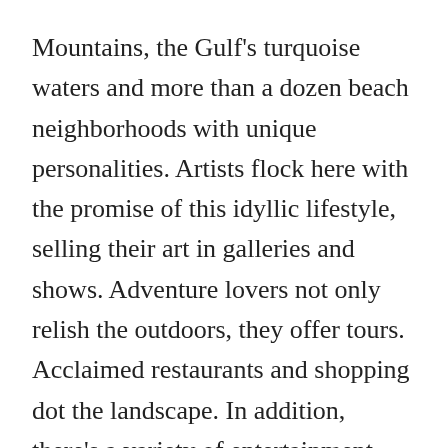Mountains, the Gulf's turquoise waters and more than a dozen beach neighborhoods with unique personalities. Artists flock here with the promise of this idyllic lifestyle, selling their art in galleries and shows. Adventure lovers not only relish the outdoors, they offer tours. Acclaimed restaurants and shopping dot the landscape. In addition, there's a variety of entertainment and attractions, so every day brings something new.
Yes, it's easy to drive over to Florida and coast down 30A. The hard part is deciding what to do from the long list of opportunities.